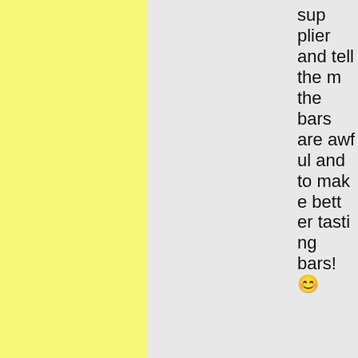[Figure (other): Yellow textured background panel on the left portion of the page]
[Figure (other): Gray background panel in the center portion of the page]
their supplier and tell them the bars are awful and to make better tasting bars! 😊